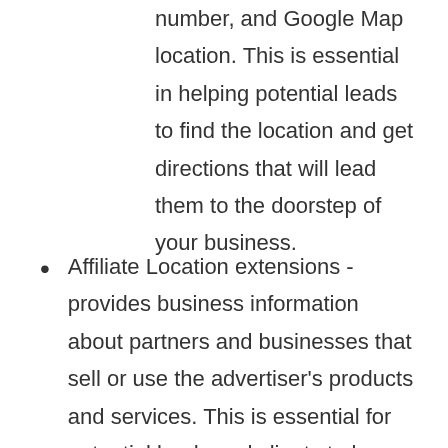number, and Google Map location. This is essential in helping potential leads to find the location and get directions that will lead them to the doorstep of your business.
Affiliate Location extensions - provides business information about partners and businesses that sell or use the advertiser's products and services. This is essential for potential leads and clients to know different businesses that you have been transacting with to give them the confidence to buy or purchase your products. This extension